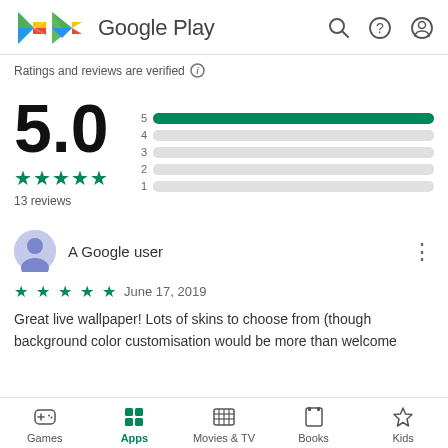Google Play
Ratings and reviews are verified
[Figure (bar-chart): Rating distribution]
5.0
13 reviews
A Google user
June 17, 2019
Great live wallpaper! Lots of skins to choose from (though background color customisation would be more than welcome
Games  Apps  Movies & TV  Books  Kids